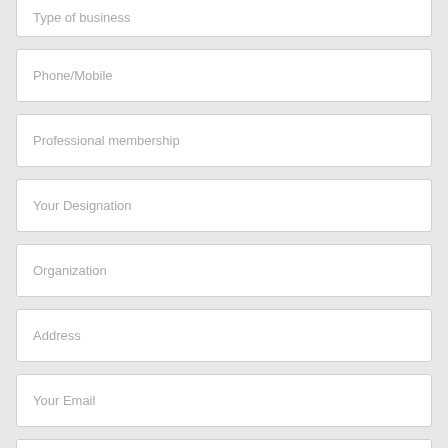Type of business
Phone/Mobile
Professional membership
Your Designation
Organization
Address
Your Email
Qualification